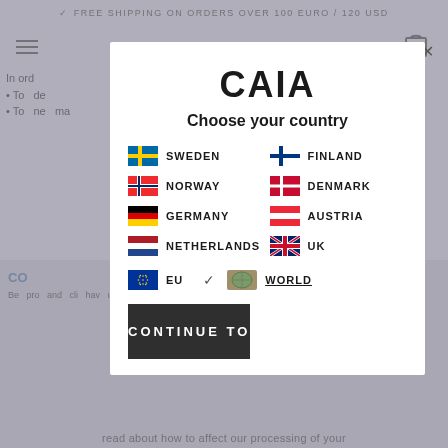FREE SHIPPING ON ORDERS OVER 100 EURO / 120 USD
CAIA
Choose your country
SWEDEN
FINLAND
NORWAY
DENMARK
GERMANY
AUSTRIA
NETHERLANDS
UK
EU
WORLD
CONTINUE TO